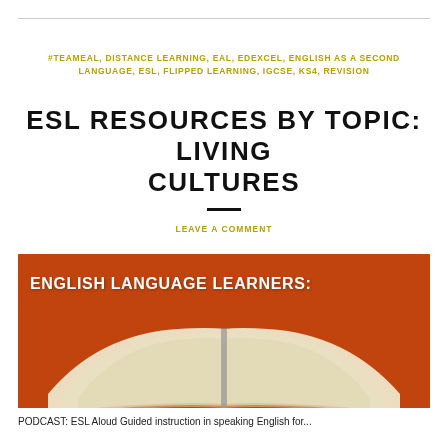#TEAMEAL, DISTANCE LEARNING, EAL, EDEXCEL, ENGLISH AS A SECOND LANGUAGE, ESL, FLIPPED LEARNING, IGCSE, KS4, REVISION
ESL RESOURCES BY TOPIC: LIVING CULTURES
LEAVE A COMMENT
[Figure (photo): Orange/red banner with an open book and text reading ENGLISH LANGUAGE LEARNERS:]
PODCAST: ESL Aloud Guided instruction in speaking English for...